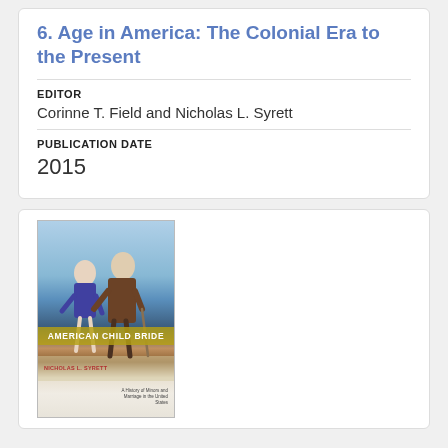6. Age in America: The Colonial Era to the Present
EDITOR
Corinne T. Field and Nicholas L. Syrett
PUBLICATION DATE
2015
[Figure (photo): Book cover of 'American Child Bride: A History of Minors and Marriage in the United States' by Nicholas L. Syrett. Shows a young woman in a swimsuit and an older man in a suit walking together on a beach.]